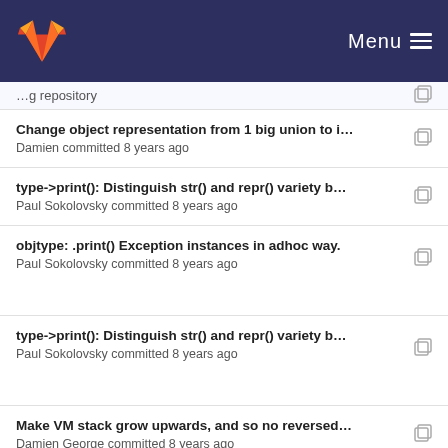GitLab Menu
Change object representation from 1 big union to i...
Damien committed 8 years ago
type->print(): Distinguish str() and repr() variety b...
Paul Sokolovsky committed 8 years ago
objtype: .print() Exception instances in adhoc way.
Paul Sokolovsky committed 8 years ago
type->print(): Distinguish str() and repr() variety b...
Paul Sokolovsky committed 8 years ago
Make VM stack grow upwards, and so no reversed...
Damien George committed 8 years ago
Change object representation from 1 big union to i...
Damien committed 8 years ago